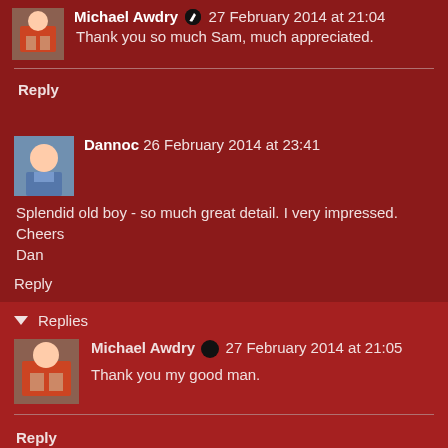Michael Awdry ✏ 27 February 2014 at 21:04
Thank you so much Sam, much appreciated.
Reply
Dannoc 26 February 2014 at 23:41
Splendid old boy - so much great detail. I very impressed. Cheers Dan
Reply
Replies
Michael Awdry ✏ 27 February 2014 at 21:05
Thank you my good man.
Reply